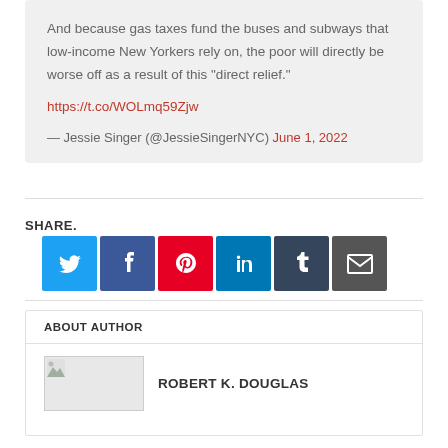And because gas taxes fund the buses and subways that low-income New Yorkers rely on, the poor will directly be worse off as a result of this “direct relief.”
https://t.co/WOLmq59Zjw
— Jessie Singer (@JessieSingerNYC) June 1, 2022
SHARE.
[Figure (infographic): Social share buttons: Twitter, Facebook, Pinterest, LinkedIn, Tumblr, Email]
ABOUT AUTHOR
[Figure (photo): Author photo placeholder for Robert K. Douglas]
ROBERT K. DOUGLAS